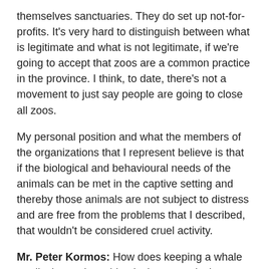themselves sanctuaries. They do set up not-for-profits. It's very hard to distinguish between what is legitimate and what is not legitimate, if we're going to accept that zoos are a common practice in the province. I think, to date, there's not a movement to just say people are going to close all zoos.
My personal position and what the members of the organizations that I represent believe is that if the biological and behavioural needs of the animals can be met in the captive setting and thereby those animals are not subject to distress and are free from the problems that I described, that wouldn't be considered cruel activity.
Mr. Peter Kormos: How does keeping a whale on display and teaching it cheap carnival tricksÃ¢ÂÂor a dolphin or sealsÃ¢ÂÂmeet that standard?
Ms. Julie Woodyer: I've done a lot of work with whales and dolphins, and I would absolutely agree with you that there